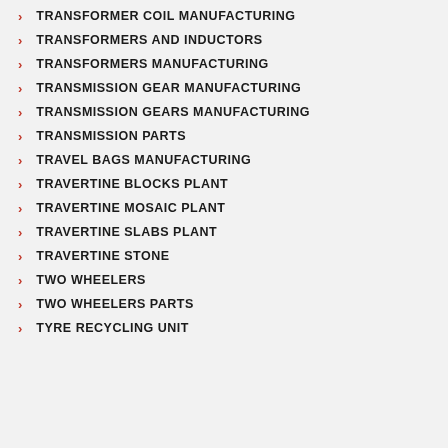TRANSFORMER COIL MANUFACTURING
TRANSFORMERS AND INDUCTORS
TRANSFORMERS MANUFACTURING
TRANSMISSION GEAR MANUFACTURING
TRANSMISSION GEARS MANUFACTURING
TRANSMISSION PARTS
TRAVEL BAGS MANUFACTURING
TRAVERTINE BLOCKS PLANT
TRAVERTINE MOSAIC PLANT
TRAVERTINE SLABS PLANT
TRAVERTINE STONE
TWO WHEELERS
TWO WHEELERS PARTS
TYRE RECYCLING UNIT